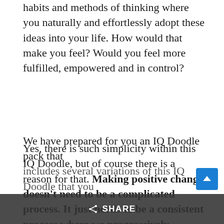habits and methods of thinking where you naturally and effortlessly adopt these ideas into your life. How would that make you feel? Would you feel more fulfilled, empowered and in control?
Yes, there is such simplicity within this IQ Doodle, but of course there is a reason for that. Making positive change doesn't need to be a complicated process. It just needs to be a consistent process where we progressively develop new habits-of-mind through repeated exposure and implementation. And that's what these IQ Doodles are for.
We have prepared for you an IQ Doodle pack that includes several variations of this IQ Doodle that you